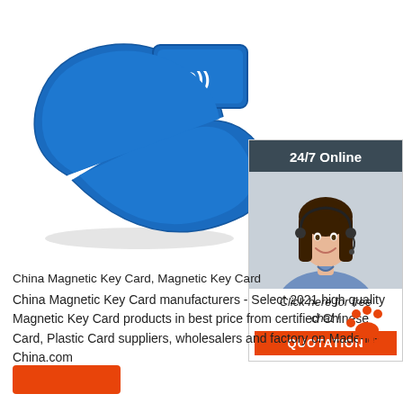[Figure (photo): Blue silicone RFID wristband/bracelet with white RFID logo text on the chip module]
[Figure (infographic): 24/7 Online chat widget with a smiling female customer service representative wearing a headset, 'Click here for free chat!' text, and orange QUOTATION button]
China Magnetic Key Card, Magnetic Key Card
China Magnetic Key Card manufacturers - Select 2021 high quality Magnetic Key Card products in best price from certified Chinese Card, Plastic Card suppliers, wholesalers and factory on Made-in-China.com
[Figure (logo): Made-in-China TOP logo with orange dotted paw print and orange TOP text]
[Figure (other): Orange rectangular button at bottom left]